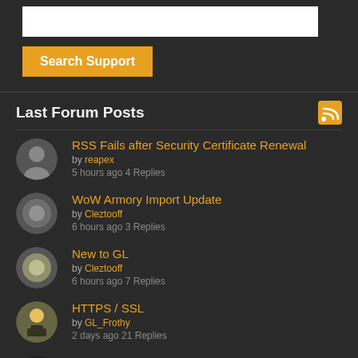[Figure (screenshot): White search input box]
Search Support
Last Forum Posts
RSS Fails after Security Certificate Renewal by reapex 5 hours ago 4 Replies
WoW Armory Import Update by Cleztooff 6 hours ago 3 Replies
New to GL by Cleztooff 6 hours ago 7 Replies
HTTPS / SSL by GL_Frothy 2 days ago 21 Replies
Spammers by Mountain09 6 days ago 9 Replies